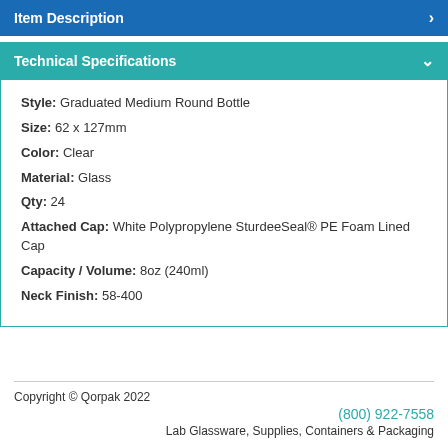Item Description
Technical Specifications
Style:  Graduated Medium Round Bottle
Size:  62 x 127mm
Color:  Clear
Material:  Glass
Qty:  24
Attached Cap:  White Polypropylene SturdeeSeal® PE Foam Lined Cap
Capacity / Volume:  8oz (240ml)
Neck Finish:  58-400
Copyright © Qorpak 2022
(800) 922-7558
Lab Glassware, Supplies, Containers & Packaging